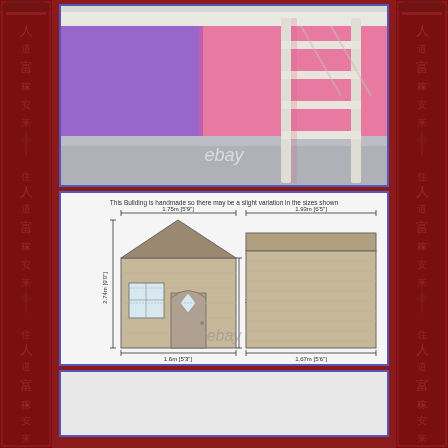[Figure (photo): Interior photo of a children's room with pink and purple walls, a grey floor, and a white wooden bunk bed ladder visible. eBay watermark at bottom center.]
[Figure (schematic): Technical dimension diagram of a garden shed/playhouse showing front elevation and side view. Dimensions shown: 1.75m (5'9") width front, 1.93m (6'5") width side, 2.74m (9'0") height, 2.3m (7'7") wall height, 1.6m (5'3") depth front, 1.67m (5'6") depth side. Text at top reads: This Building is handmade so there may be a slight variation in the sizes shown. eBay watermark at bottom center.]
[Figure (photo): Partial view of a third image, mostly white/light colored, cut off at bottom of page.]